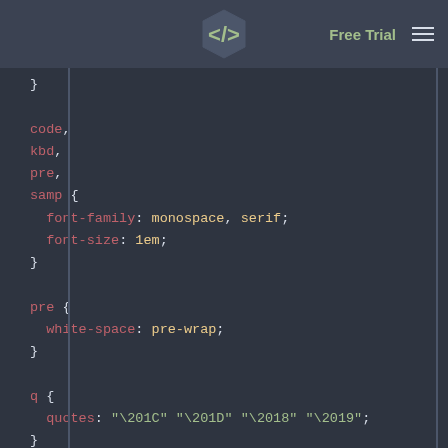Free Trial
}

code,
kbd,
pre,
samp {
  font-family: monospace, serif;
  font-size: 1em;
}

pre {
  white-space: pre-wrap;
}

q {
  quotes: "\201C" "\201D" "\2018" "\2019";
}

small {